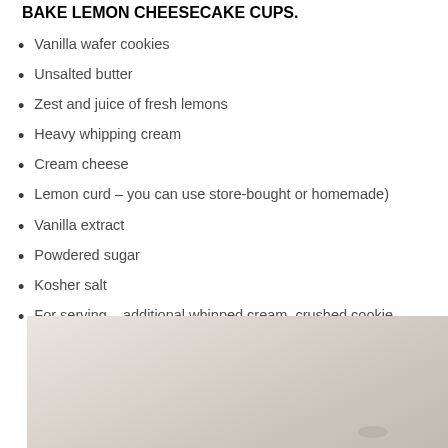BAKE LEMON CHEESECAKE CUPS.
Vanilla wafer cookies
Unsalted butter
Zest and juice of fresh lemons
Heavy whipping cream
Cream cheese
Lemon curd – you can use store-bought or homemade)
Vanilla extract
Powdered sugar
Kosher salt
For serving – additional whipped cream, crushed cookie crumbs, lemon zest, and/or fresh berries
[Figure (photo): Light-colored background photo, likely a food/dessert scene with subtle textures in beige and taupe tones]